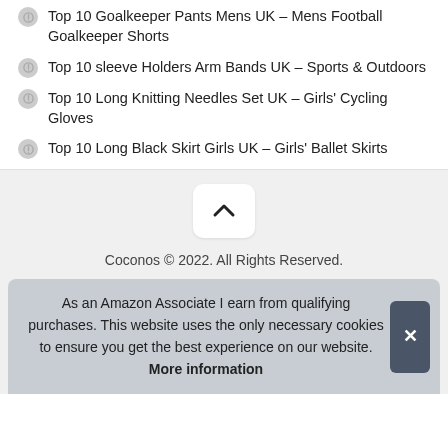Top 10 Goalkeeper Pants Mens UK – Mens Football Goalkeeper Shorts
Top 10 sleeve Holders Arm Bands UK – Sports & Outdoors
Top 10 Long Knitting Needles Set UK – Girls' Cycling Gloves
Top 10 Long Black Skirt Girls UK – Girls' Ballet Skirts
Coconos © 2022. All Rights Reserved.
As an Amazon Associate I earn from qualifying purchases. This website uses the only necessary cookies to ensure you get the best experience on our website. More information